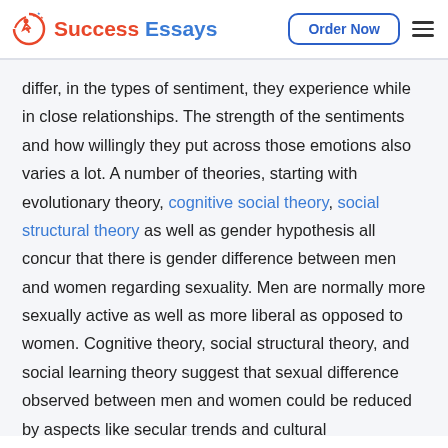Success Essays — Order Now
differ, in the types of sentiment, they experience while in close relationships. The strength of the sentiments and how willingly they put across those emotions also varies a lot. A number of theories, starting with evolutionary theory, cognitive social theory, social structural theory as well as gender hypothesis all concur that there is gender difference between men and women regarding sexuality. Men are normally more sexually active as well as more liberal as opposed to women. Cognitive theory, social structural theory, and social learning theory suggest that sexual difference observed between men and women could be reduced by aspects like secular trends and cultural